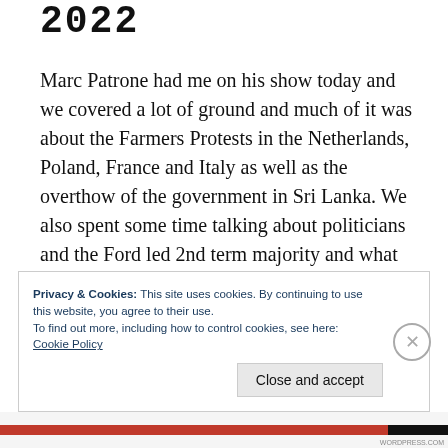2022
Marc Patrone had me on his show today and we covered a lot of ground and much of it was about the Farmers Protests in the Netherlands, Poland, France and Italy as well as the overthow of the government in Sri Lanka. We also spent some time talking about politicians and the Ford led 2nd term majority and what he might do about the electricity file if anything. Rising energy costs and the
Privacy & Cookies: This site uses cookies. By continuing to use this website, you agree to their use.
To find out more, including how to control cookies, see here:
Cookie Policy
Close and accept